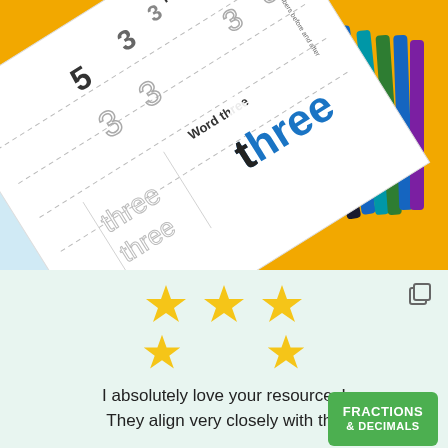[Figure (photo): Photo of a child's hand pointing at a worksheet about Number 3, with the word 'three' shown in blue letters. Yellow background with colored markers visible on the right side. White worksheet tilted at an angle showing number tracing exercises.]
[Figure (infographic): Five gold/yellow stars arranged in two rows (three on top, two on bottom sides) indicating a 5-star review, on a light mint/green background.]
I absolutely love your resources! They align very closely with the
[Figure (logo): Green badge/label reading 'FRACTIONS & DECIMALS' with a cartoon character icon.]